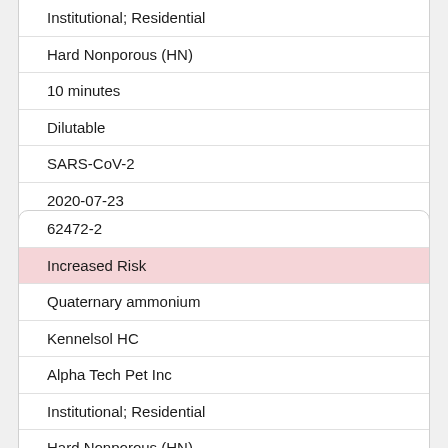| Institutional; Residential |
| Hard Nonporous (HN) |
| 10 minutes |
| Dilutable |
| SARS-CoV-2 |
| 2020-07-23 |
| Tested against SARS-CoV-2 (COVID-19);
Emerging viral pathogen claim |
| 62472-2 |
| Increased Risk |
| Quaternary ammonium |
| Kennelsol HC |
| Alpha Tech Pet Inc |
| Institutional; Residential |
| Hard Nonporous (HN) |
| 10 minutes |
| Dilutable |
| SARS-CoV-2 |